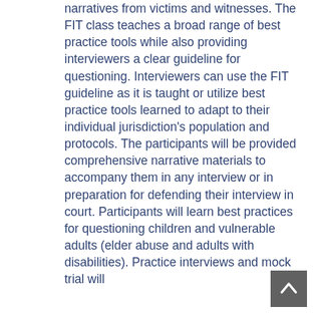narratives from victims and witnesses. The FIT class teaches a broad range of best practice tools while also providing interviewers a clear guideline for questioning. Interviewers can use the FIT guideline as it is taught or utilize best practice tools learned to adapt to their individual jurisdiction's population and protocols. The participants will be provided comprehensive narrative materials to accompany them in any interview or in preparation for defending their interview in court. Participants will learn best practices for questioning children and vulnerable adults (elder abuse and adults with disabilities). Practice interviews and mock trial will